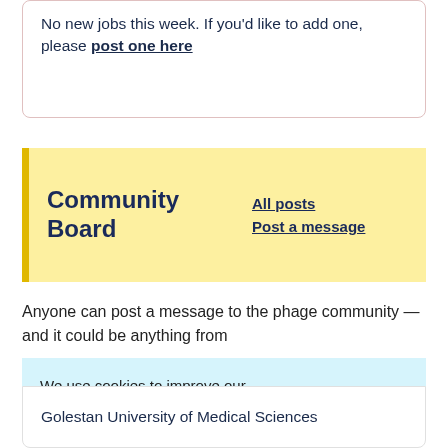No new jobs this week. If you'd like to add one, please post one here
Community Board
All posts  Post a message
Anyone can post a message to the phage community — and it could be anything from
We use cookies to improve our site, and to understand where people are visiting from. We don't use targeted ads or track personal information. Read our site policies here.
Golestan University of Medical Sciences